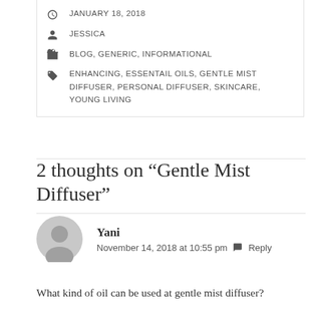JANUARY 18, 2018
JESSICA
BLOG, GENERIC, INFORMATIONAL
ENHANCING, ESSENTAIL OILS, GENTLE MIST DIFFUSER, PERSONAL DIFFUSER, SKINCARE, YOUNG LIVING
2 thoughts on “Gentle Mist Diffuser”
Yani
November 14, 2018 at 10:55 pm   Reply
What kind of oil can be used at gentle mist diffuser?